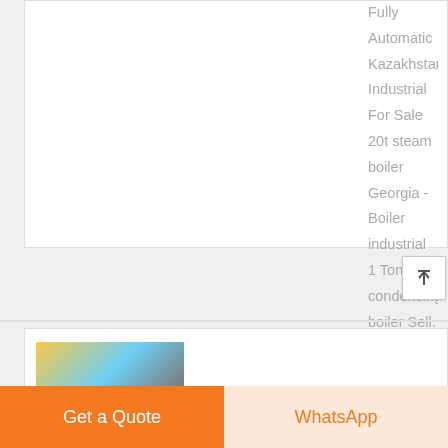Fully Automatic Kazakhstan. Industrial For Sale 20t steam boiler Georgia -Boiler industrial 1 Ton gas condensing boiler Sell. 15 Ton Biomass Fuel Boiler In Philippines Find Best In . 3 ton boiler rice mill Manufacturer of biomass fired boiler "diesel fuel fired 0.1 ton chain grate diesel fired boiler for hot water generation for Israel 0.1 ton chain ...
learn More
[Figure (photo): Partial view of a boiler product thumbnail image at bottom of page]
Get a Quote
WhatsApp